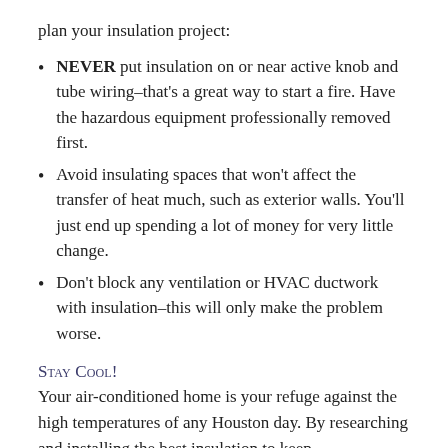plan your insulation project:
NEVER put insulation on or near active knob and tube wiring–that's a great way to start a fire. Have the hazardous equipment professionally removed first.
Avoid insulating spaces that won't affect the transfer of heat much, such as exterior walls. You'll just end up spending a lot of money for very little change.
Don't block any ventilation or HVAC ductwork with insulation–this will only make the problem worse.
Stay Cool!
Your air-conditioned home is your refuge against the high temperatures of any Houston day. By researching and installing the best insulation to keep